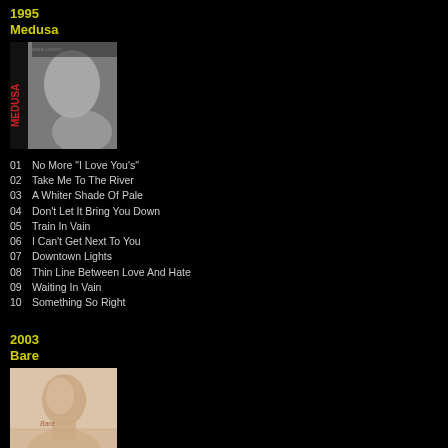1995
Medusa
[Figure (photo): Album cover for Medusa — black and white photo of Annie Lennox with 'MEDUSA' text on the left side in red]
01  No More "I Love You's"
02  Take Me To The River
03  A Whiter Shade Of Pale
04  Don't Let It Bring You Down
05  Train In Vain
06  I Can't Get Next To You
07  Downtown Lights
08  Thin Line Between Love And Hate
09  Waiting In Vain
10  Something So Right
2003
Bare
[Figure (photo): Album cover for Bare — light beige/nude toned photo of Annie Lennox with shaved head, touching her face, 'Bare' text on the cover]